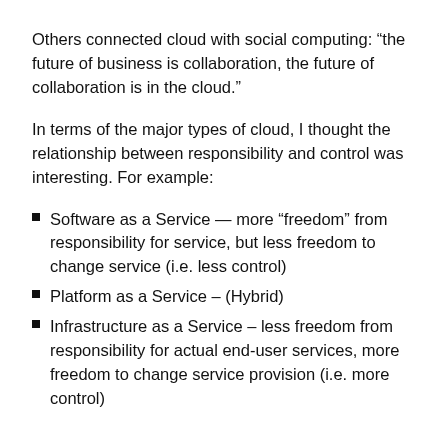Others connected cloud with social computing: “the future of business is collaboration, the future of collaboration is in the cloud.”
In terms of the major types of cloud, I thought the relationship between responsibility and control was interesting. For example:
Software as a Service — more “freedom” from responsibility for service, but less freedom to change service (i.e. less control)
Platform as a Service – (Hybrid)
Infrastructure as a Service – less freedom from responsibility for actual end-user services, more freedom to change service provision (i.e. more control)